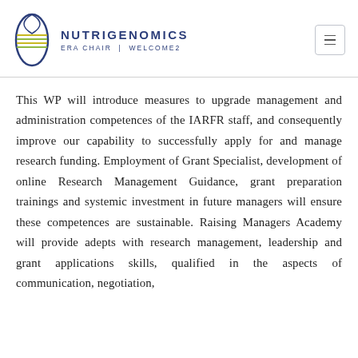NUTRIGENOMICS ERA CHAIR | WELCOME2
This WP will introduce measures to upgrade management and administration competences of the IARFR staff, and consequently improve our capability to successfully apply for and manage research funding. Employment of Grant Specialist, development of online Research Management Guidance, grant preparation trainings and systemic investment in future managers will ensure these competences are sustainable. Raising Managers Academy will provide adepts with research management, leadership and grant applications skills, qualified in the aspects of communication, negotiation, conflict and staff relations, and team management.